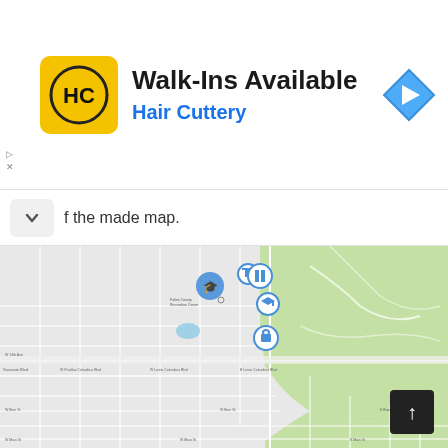[Figure (screenshot): Hair Cuttery advertisement banner with yellow HC logo, 'Walk-Ins Available' headline, and blue navigation arrow icon]
f the made map.
[Figure (map): Google Maps-style street map showing a suburban grid layout with green park area on the right side, map pins/markers for schools and other points of interest, and street labels]